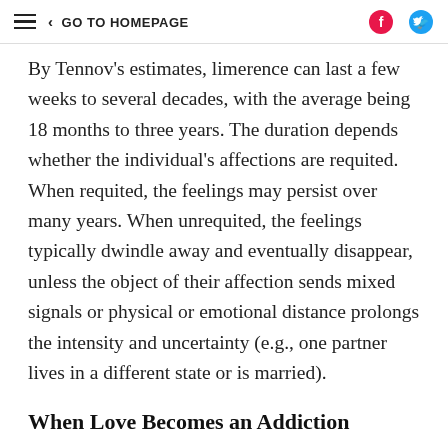GO TO HOMEPAGE
By Tennov's estimates, limerence can last a few weeks to several decades, with the average being 18 months to three years. The duration depends whether the individual's affections are requited. When requited, the feelings may persist over many years. When unrequited, the feelings typically dwindle away and eventually disappear, unless the object of their affection sends mixed signals or physical or emotional distance prolongs the intensity and uncertainty (e.g., one partner lives in a different state or is married).
When Love Becomes an Addiction
For reasons we don't yet fully understand, not